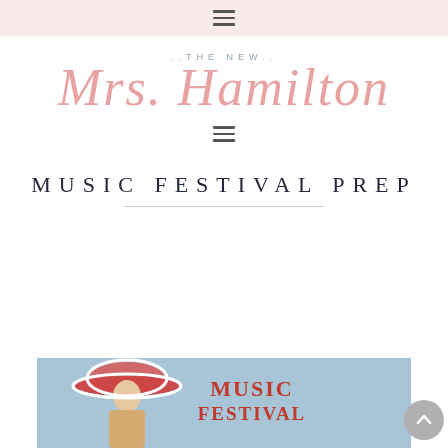≡ (hamburger menu icon)
[Figure (logo): The New Mrs. Hamilton blog logo with script font in rose/pink color and 'The New' in steel blue small caps above]
≡ (hamburger menu icon, secondary navigation)
MUSIC FESTIVAL PREP
[Figure (photo): Partial photo of a woman wearing a large red floppy hat and sunglasses, with 'MUSIC FESTIVAL' text overlay in red on a blue background]